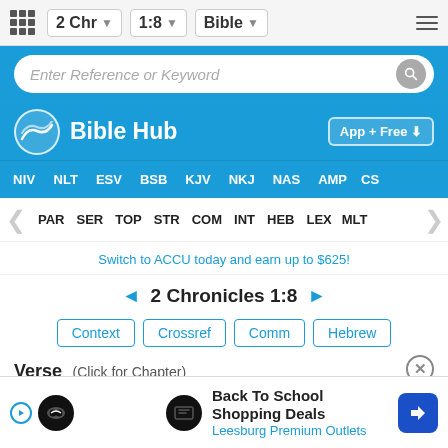2 Chr  1:8  Bible
Enter Reference or Keyword
Bible Hub
App + Free
NIV  NLT  ESV  BSB  KJV  NKJ  NAS  AMP  CS
PAR  SER  TOP  STR  COM  INT  HEB  LEX  MLT
Switch to ACCU today and earn up to $625!
◄ 2 Chronicles 1:8 ►
Context  Crossref  Comm  Hebrew
Verse (Click for Chapter)
New
Solomon
Back To School Shopping Deals
Leesburg Premium Outlets